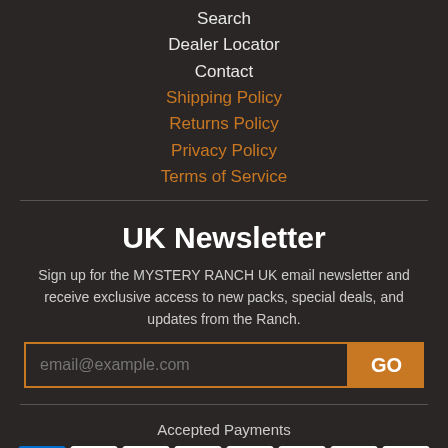Search
Dealer Locator
Contact
Shipping Policy
Returns Policy
Privacy Policy
Terms of Service
UK Newsletter
Sign up for the MYSTERY RANCH UK email newsletter and receive exclusive access to new packs, special deals, and updates from the Ranch.
Accepted Payments
[Figure (infographic): Payment method icons: AMEX, Apple Pay, Diners Club, Discover, Google Pay, Maestro, Mastercard, PayPal]